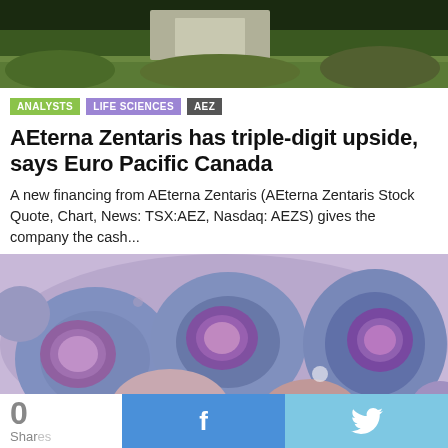[Figure (photo): Outdoor photo showing greenery and a building structure in the background, cropped at top]
ANALYSTS   LIFE SCIENCES   AEZ
AEterna Zentaris has triple-digit upside, says Euro Pacific Canada
A new financing from AEterna Zentaris (AEterna Zentaris Stock Quote, Chart, News: TSX:AEZ, Nasdaq: AEZS) gives the company the cash...
[Figure (photo): Microscopic image of large purple/blue cells with prominent nuclei, likely myeloma or cancer cells stained for microscopy]
0 Shares